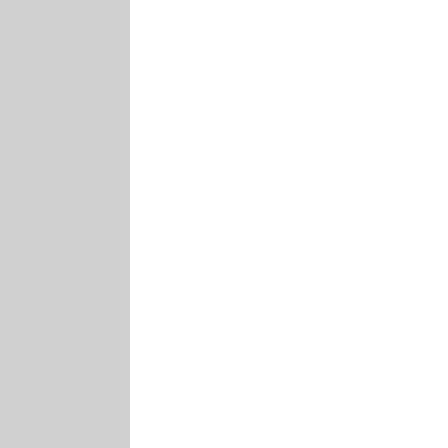and which is an earmark of defensive If you are so perfectly set then why do you find it necessary to use screaming caps to defend yourself If you have such as station in life